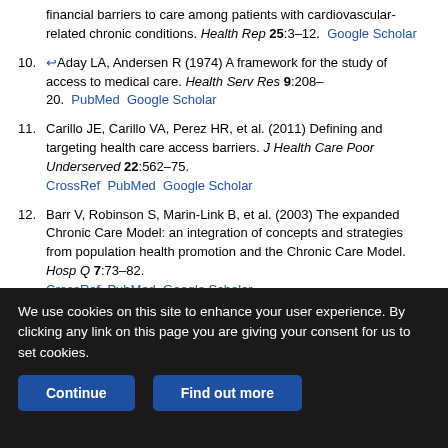financial barriers to care among patients with cardiovascular-related chronic conditions. Health Rep 25:3–12. Google Scholar
10. Aday LA, Andersen R (1974) A framework for the study of access to medical care. Health Serv Res 9:208–20. PubMed Google Scholar
11. Carillo JE, Carillo VA, Perez HR, et al. (2011) Defining and targeting health care access barriers. J Health Care Poor Underserved 22:562–75. CrossRef PubMed Google Scholar
12. Barr V, Robinson S, Marin-Link B, et al. (2003) The expanded Chronic Care Model: an integration of concepts and strategies from population health promotion and the Chronic Care Model. Hosp Q 7:73–82. CrossRef PubMed Google Scholar
13. Levesque JF, Harris MF, Russell G (2013) Patient-centred access to healthcare: conceptualising access at the interface of health systems and populations. Int J Equity Health 12:18. CrossRef PubMed Google Scholar
We use cookies on this site to enhance your user experience. By clicking any link on this page you are giving your consent for us to set cookies.